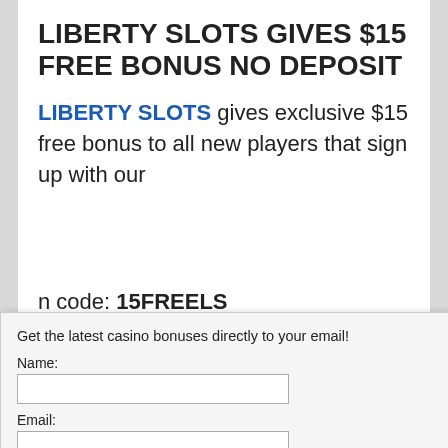LIBERTY SLOTS GIVES $15 FREE BONUS NO DEPOSIT
LIBERTY SLOTS gives exclusive $15 free bonus to all new players that sign up with our promotion code: 15FREELS
Get the latest casino bonuses directly to your email!
Name:
Email:
SIGN UP NOW!
We respect your email privacy
Powered by AWeber Email Marketing
By subscribing you are certifying that you have reviewed and accepted our updated Privacy and Cookie policy.
bonus, no deposit coupon code: 15FREELS
all new players from a, New Zealand, y, South Africa, Czech, pain and many other
able to players